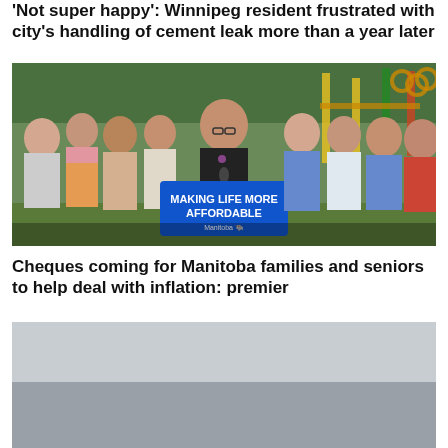'Not super happy': Winnipeg resident frustrated with city's handling of cement leak more than a year later
[Figure (photo): A woman in a black sleeveless top stands at a podium with a blue sign reading 'MAKING LIFE MORE AFFORDABLE — Manitoba'. A group of people stand behind her clapping, in front of a playground structure.]
Cheques coming for Manitoba families and seniors to help deal with inflation: premier
[Figure (photo): Partially visible photo with grey overcast sky at the bottom of the page.]